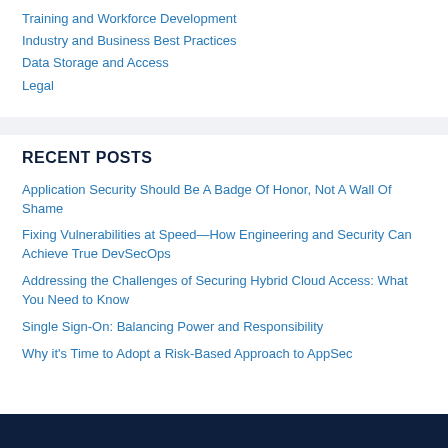Training and Workforce Development
Industry and Business Best Practices
Data Storage and Access
Legal
RECENT POSTS
Application Security Should Be A Badge Of Honor, Not A Wall Of Shame
Fixing Vulnerabilities at Speed—How Engineering and Security Can Achieve True DevSecOps
Addressing the Challenges of Securing Hybrid Cloud Access: What You Need to Know
Single Sign-On: Balancing Power and Responsibility
Why it's Time to Adopt a Risk-Based Approach to AppSec